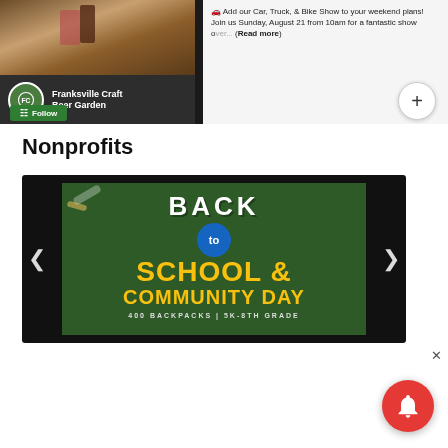[Figure (screenshot): Screenshot of a social media post for Franksville Craft Beer Garden with a Car, Truck & Bike Show event announcement. Shows a photo on the left, the page name and Follow button below, and event text on the right with a plus button.]
Nonprofits
[Figure (photo): Back to School & Community Day promotional image on dark green chalkboard background. Yellow text reads SCHOOL & COMMUNITY DAY with BACK at top and 'to' in a blue circle. Bottom text: 400 BACKPACKS | 5K-8TH GRADE. Navigation arrows on left and right.]